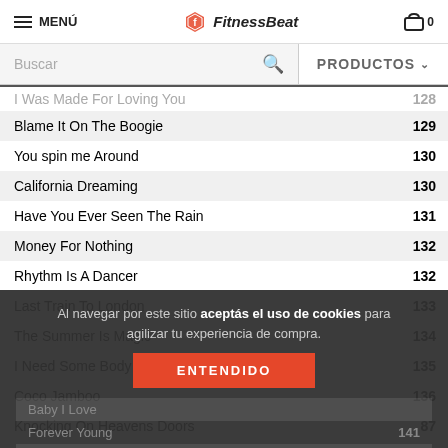MENÚ | FitnessBeat | 0
Buscar | PRODUCTOS
| Song | BPM |
| --- | --- |
| I Was Made For Loving You | 128 |
| Blame It On The Boogie | 129 |
| You spin me Around | 130 |
| California Dreaming | 130 |
| Have You Ever Seen The Rain | 131 |
| Money For Nothing | 132 |
| Rhythm Is A Dancer | 132 |
| Last Train To London | 133 |
| The Summer Is Magic | 134 |
| I Need Some Body | 135 |
| Coco Jamboo | 136 |
| Knocking On Heavens Doors | 87 |
Al navegar por este sitio aceptás el uso de cookies para agilizar tu experiencia de compra.
ENTENDIDO
Baby I Love
Forever Young
Mr Vain
141
Mr Vain 142